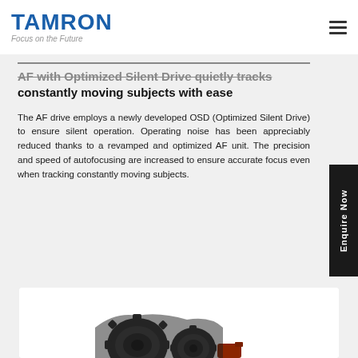TAMRON — Focus on the Future
AF with Optimized Silent Drive quietly tracks constantly moving subjects with ease
The AF drive employs a newly developed OSD (Optimized Silent Drive) to ensure silent operation. Operating noise has been appreciably reduced thanks to a revamped and optimized AF unit. The precision and speed of autofocusing are increased to ensure accurate focus even when tracking constantly moving subjects.
[Figure (photo): Close-up photograph of AF drive gear mechanism components, dark colored plastic gears and motor parts against white background]